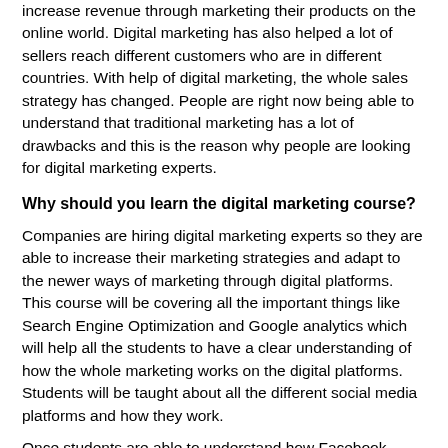increase revenue through marketing their products on the online world. Digital marketing has also helped a lot of sellers reach different customers who are in different countries. With help of digital marketing, the whole sales strategy has changed. People are right now being able to understand that traditional marketing has a lot of drawbacks and this is the reason why people are looking for digital marketing experts.
Why should you learn the digital marketing course?
Companies are hiring digital marketing experts so they are able to increase their marketing strategies and adapt to the newer ways of marketing through digital platforms. This course will be covering all the important things like Search Engine Optimization and Google analytics which will help all the students to have a clear understanding of how the whole marketing works on the digital platforms. Students will be taught about all the different social media platforms and how they work.
Once students are able to understand how Facebook, Google, and YouTube works they will easily be able to have a clear idea about Facebook Marketing, Google AdWords, Google Analytics and also YouTube Marketing. Learning about all the social media platforms